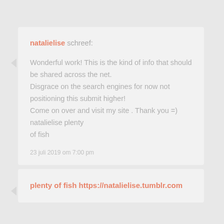natalielise schreef:
Wonderful work! This is the kind of info that should be shared across the net. Disgrace on the search engines for now not positioning this submit higher! Come on over and visit my site . Thank you =) natalielise plenty of fish
23 juli 2019 om 7:00 pm
plenty of fish https://natalielise.tumblr.com